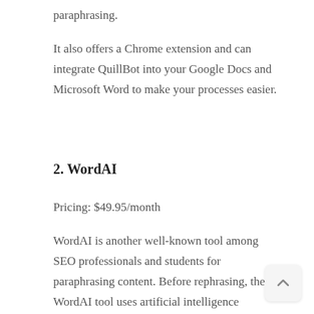paraphrasing.
It also offers a Chrome extension and can integrate QuillBot into your Google Docs and Microsoft Word to make your processes easier.
2. WordAI
Pricing: $49.95/month
WordAI is another well-known tool among SEO professionals and students for paraphrasing content. Before rephrasing, the WordAI tool uses artificial intelligence